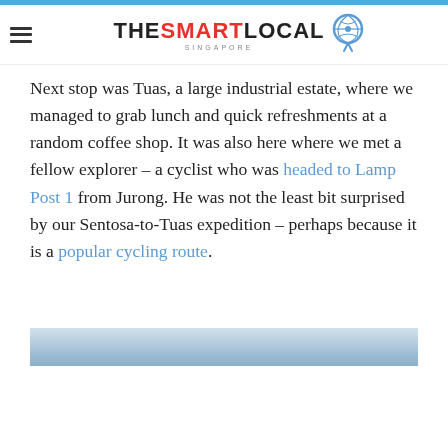THE SMART LOCAL SINGAPORE
Next stop was Tuas, a large industrial estate, where we managed to grab lunch and quick refreshments at a random coffee shop. It was also here where we met a fellow explorer – a cyclist who was headed to Lamp Post 1 from Jurong. He was not the least bit surprised by our Sentosa-to-Tuas expedition – perhaps because it is a popular cycling route.
[Figure (photo): A partially visible outdoor photo strip showing sky or water, appearing at the bottom of the content area]